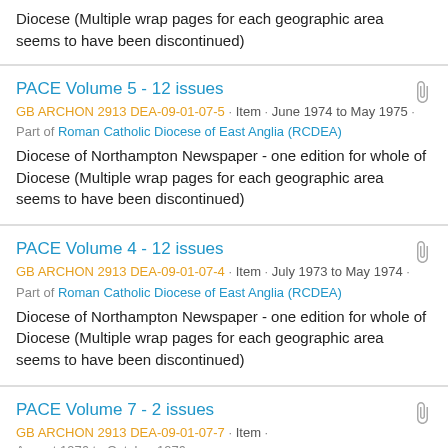Diocese (Multiple wrap pages for each geographic area seems to have been discontinued)
PACE Volume 5 - 12 issues
GB ARCHON 2913 DEA-09-01-07-5 · Item · June 1974 to May 1975 ·
Part of Roman Catholic Diocese of East Anglia (RCDEA)
Diocese of Northampton Newspaper - one edition for whole of Diocese (Multiple wrap pages for each geographic area seems to have been discontinued)
PACE Volume 4 - 12 issues
GB ARCHON 2913 DEA-09-01-07-4 · Item · July 1973 to May 1974 ·
Part of Roman Catholic Diocese of East Anglia (RCDEA)
Diocese of Northampton Newspaper - one edition for whole of Diocese (Multiple wrap pages for each geographic area seems to have been discontinued)
PACE Volume 7 - 2 issues
GB ARCHON 2913 DEA-09-01-07-7 · Item ·
August 1976 to October 1976 ·
Part of Roman Catholic Diocese of East Anglia (RCDEA)
Diocese of Northampton Newspaper - one edition for whole of Diocese (Multiple wrap pages for each geographic area seems to have been discontinued)